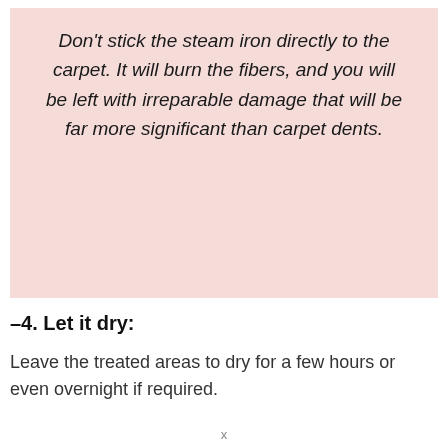Don't stick the steam iron directly to the carpet. It will burn the fibers, and you will be left with irreparable damage that will be far more significant than carpet dents.
–4. Let it dry:
Leave the treated areas to dry for a few hours or even overnight if required.
x